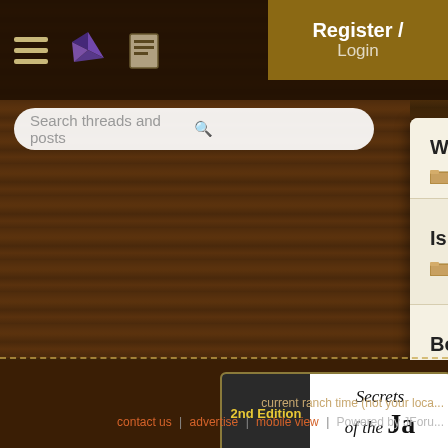Register / Login
[Figure (screenshot): Search bar with placeholder 'Search threads and posts' and a magnifying glass icon]
Which Book for SCWCD — 8 replies
Is Head First SCWCD Boo — 8 replies
Book for SCWCD — 1 reply
[Figure (illustration): Book advertisement banner: '2nd Edition' on dark background, 'Secrets of the Ja...' on white]
current ranch time (not your loca...
contact us | advertise | mobile view | Powered by JForu...